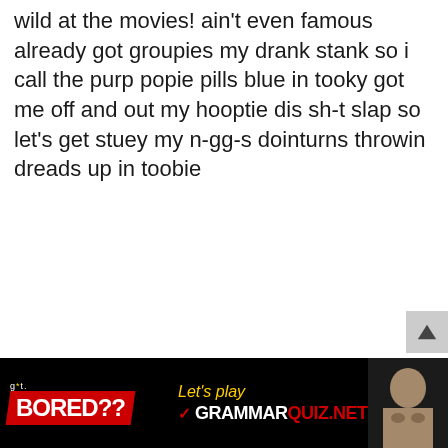wild at the movies! ain't even famous already got groupies my drank stank so i call the purp popie pills blue in tooky got me off and out my hooptie dis sh-t slap so let's get stuey my n-gg-s dointurns throwin dreads up in toobie
[Figure (screenshot): Bottom advertisement bar: 'got BORED??' logo on black background with 'Let's play GRAMMARQUIZ.NET' text and a photo of a person]